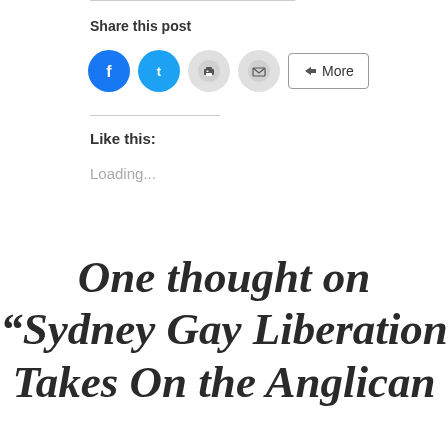Share this post
[Figure (screenshot): Social sharing buttons: Facebook (blue circle), Twitter (blue circle), Print (grey circle), Email (grey circle), and a More button]
Like this:
Loading...
One thought on “Sydney Gay Liberation Takes On the Anglican